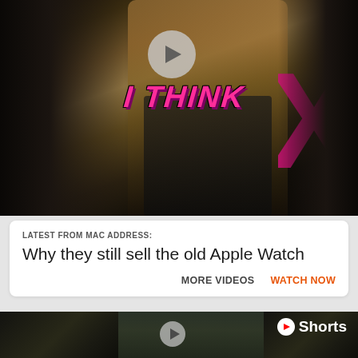[Figure (screenshot): Video thumbnail showing a person in a tan jacket with 'I THINK' text in pink/magenta overlaid, and a pink X shape on the right side. Play button visible at top center.]
LATEST FROM MAC ADDRESS:
Why they still sell the old Apple Watch
MORE VIDEOS   WATCH NOW
[Figure (screenshot): YouTube Shorts thumbnail showing a person wearing a ghillie suit in front of framed pictures on a blue wall. The YouTube Shorts logo and 'Shorts' label appear in the top right. Play button at center. Ghillie suit texture fills left and right sides.]